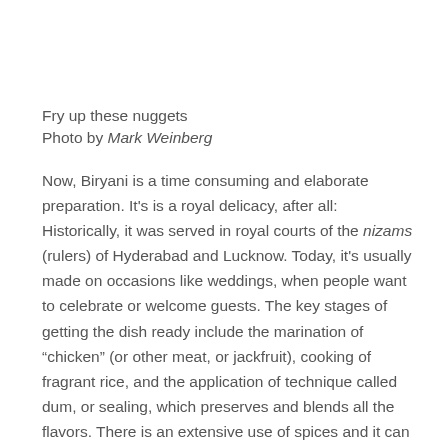Fry up these nuggets
Photo by Mark Weinberg
Now, Biryani is a time consuming and elaborate preparation. It's is a royal delicacy, after all: Historically, it was served in royal courts of the nizams (rulers) of Hyderabad and Lucknow. Today, it's usually made on occasions like weddings, when people want to celebrate or welcome guests. The key stages of getting the dish ready include the marination of “chicken” (or other meat, or jackfruit), cooking of fragrant rice, and the application of technique called dum, or sealing, which preserves and blends all the flavors. There is an extensive use of spices and it can be made extremely hot (by adding more spices